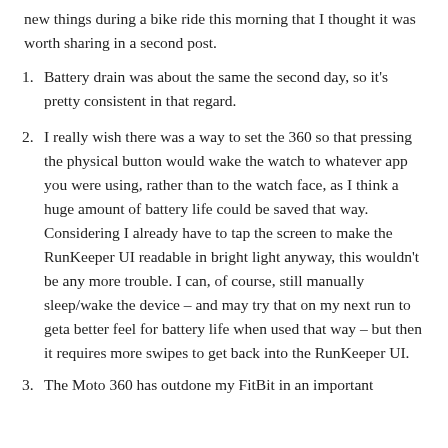new things during a bike ride this morning that I thought it was worth sharing in a second post.
Battery drain was about the same the second day, so it's pretty consistent in that regard.
I really wish there was a way to set the 360 so that pressing the physical button would wake the watch to whatever app you were using, rather than to the watch face, as I think a huge amount of battery life could be saved that way.  Considering I already have to tap the screen to make the RunKeeper UI readable in bright light anyway, this wouldn't be any more trouble. I can, of course, still manually sleep/wake the device – and may try that on my next run to geta better feel for battery life when used that way – but then it requires more swipes to get back into the RunKeeper UI.
The Moto 360 has outdone my FitBit in an important